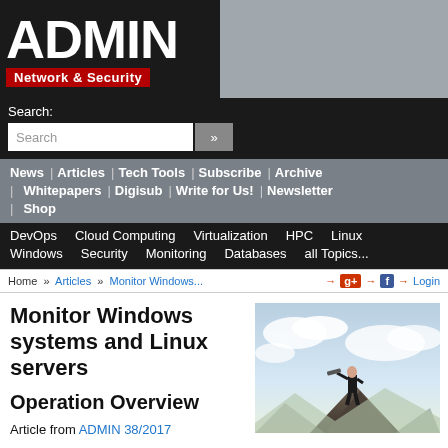[Figure (logo): ADMIN Network & Security magazine logo, white text on black background with red subtitle bar]
Search:
Search [input box with >> button]
News | Articles | Tech Tools | Subscribe | Archive | Whitepapers | Digisub | Write for Us! | Newsletter | Shop
DevOps  Cloud Computing  Virtualization  HPC  Linux  Windows  Security  Monitoring  Databases  all Topics...
Home » Articles » Monitor Windows...
Monitor Windows systems and Linux servers
Operation Overview
Article from ADMIN 38/2017
[Figure (photo): Man in suit standing on rocky peak looking through a telescope against a cloudy sky]